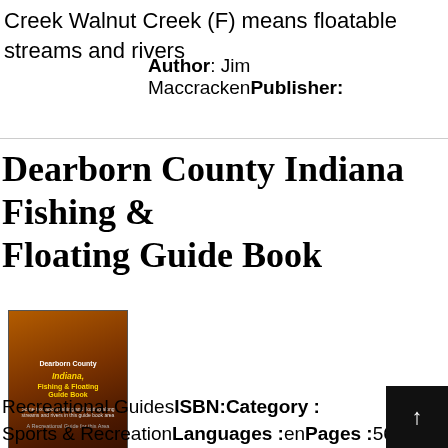Creek Walnut Creek (F) means floatable streams and rivers
Dearborn County Indiana Fishing & Floating Guide Book
[Figure (photo): Book cover of Dearborn County Indiana Fishing & Floating Guide Book with dark orange/brown background]
Author: Jim MaccrackenPublisher:
Recreational GuidesISBN:Category : Sports & RecreationLanguages :enPages :56